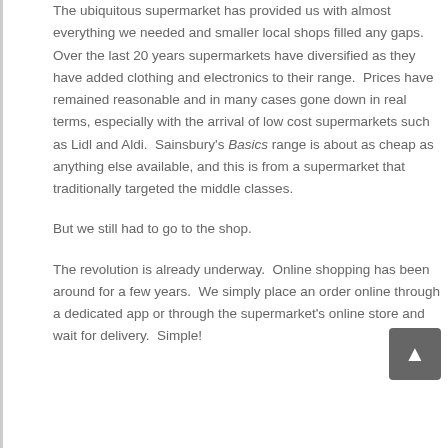The ubiquitous supermarket has provided us with almost everything we needed and smaller local shops filled any gaps.  Over the last 20 years supermarkets have diversified as they have added clothing and electronics to their range.  Prices have remained reasonable and in many cases gone down in real terms, especially with the arrival of low cost supermarkets such as Lidl and Aldi.  Sainsbury's Basics range is about as cheap as anything else available, and this is from a supermarket that traditionally targeted the middle classes.

But we still had to go to the shop.

The revolution is already underway.  Online shopping has been around for a few years.  We simply place an order online through a dedicated app or through the supermarket's online store and wait for delivery.  Simple!